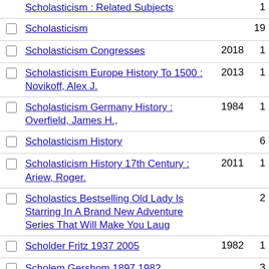|  | Subject | Year | Count |
| --- | --- | --- | --- |
| ☐ | Scholasticism : Related Subjects |  | 1 |
| ☐ | Scholasticism |  | 19 |
| ☐ | Scholasticism Congresses | 2018 | 1 |
| ☐ | Scholasticism Europe History To 1500 : Novikoff, Alex J. | 2013 | 1 |
| ☐ | Scholasticism Germany History : Overfield, James H., | 1984 | 1 |
| ☐ | Scholasticism History |  | 6 |
| ☐ | Scholasticism History 17th Century : Ariew, Roger. | 2011 | 1 |
| ☐ | Scholastics Bestselling Old Lady Is Starring In A Brand New Adventure Series That Will Make You Laug |  | 2 |
| ☐ | Scholder Fritz 1937 2005 | 1982 | 1 |
| ☐ | Scholem Gershom 1897 1982 |  | 3 |
| ☐ | Scholem Gershom Gerhard 1897 1982 |  | 2 |
| ☐ | Scholem Gershom Gerhard 1897 1982 Congresses | 1994 | 1 |